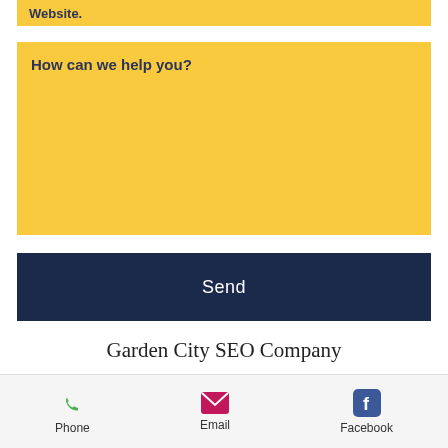Website.
How can we help you?
Send
Garden City SEO Company
SEO services can help your business increase phone calls, website visits, conversions, and
Phone  Email  Facebook